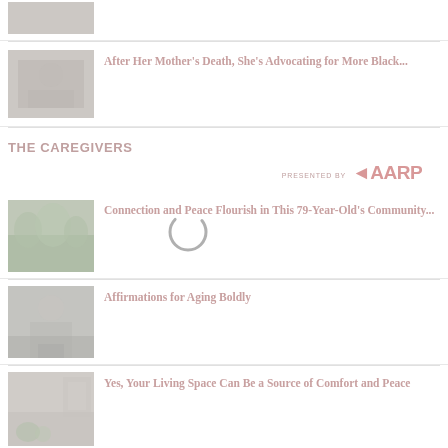[Figure (photo): Thumbnail photo of person writing]
After Her Mother's Death, She's Advocating for More Black...
THE CAREGIVERS
PRESENTED BY AARP
[Figure (photo): Thumbnail photo of garden/plants]
Connection and Peace Flourish in This 79-Year-Old's Community...
[Figure (photo): Thumbnail photo of person sitting outdoors]
Affirmations for Aging Boldly
[Figure (photo): Thumbnail photo of a room with plants]
Yes, Your Living Space Can Be a Source of Comfort and Peace